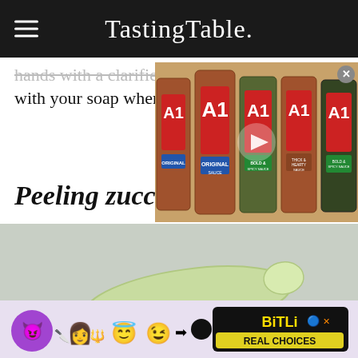Tasting Table.
hands with a clarifier, such as salt or sugar, with your soap when you're done
[Figure (screenshot): Video overlay showing A1 sauce bottles (Original, Bold & Spicy, Thick & Hearty, Bold & Spicy Sauce) with a play button in the center and a close button in the top right corner.]
Peeling zucchini
[Figure (photo): A peeled zucchini on a wooden cutting board, with strips of zucchini skin peeled off and a metal vegetable peeler placed alongside it. The background is a light gray.]
Shutterstock
[Figure (screenshot): Advertisement banner for BitLife game with devil emoji, woman emoji, angel emoji, and winking emoji. Text reads: BitLife REAL CHOICES]